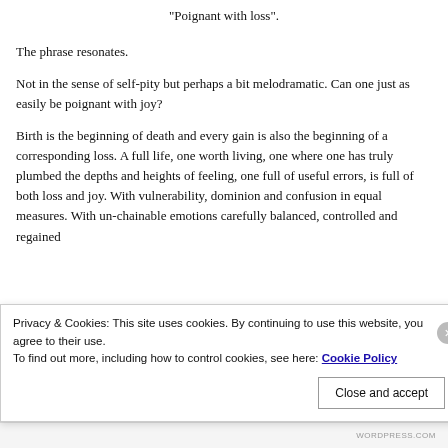“Poignant with loss”.
The phrase resonates.
Not in the sense of self-pity but perhaps a bit melodramatic.  Can one just as easily be poignant with joy?
Birth is the beginning of death and every gain is also the beginning of a corresponding loss.  A full life, one worth living, one where one has truly plumbed the depths and heights of feeling, one full of useful errors, is full of both loss and joy.  With vulnerability, dominion and confusion in equal measures.  With un-chainable emotions carefully balanced, controlled and regained
Privacy & Cookies: This site uses cookies. By continuing to use this website, you agree to their use.
To find out more, including how to control cookies, see here: Cookie Policy
Close and accept
WORDPRESS.COM